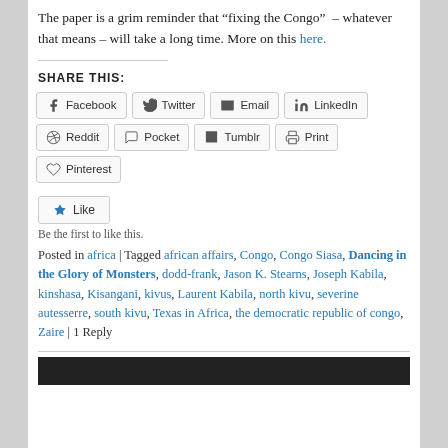The paper is a grim reminder that “fixing the Congo”  – whatever that means – will take a long time. More on this here.
SHARE THIS:
[Figure (infographic): Social sharing buttons: Facebook, Twitter, Email, LinkedIn, Reddit, Pocket, Tumblr, Print, Pinterest]
[Figure (infographic): Like button with star icon]
Be the first to like this.
Posted in africa | Tagged african affairs, Congo, Congo Siasa, Dancing in the Glory of Monsters, dodd-frank, Jason K. Stearns, Joseph Kabila, kinshasa, Kisangani, kivus, Laurent Kabila, north kivu, severine autesserre, south kivu, Texas in Africa, the democratic republic of congo, Zaire | 1 Reply